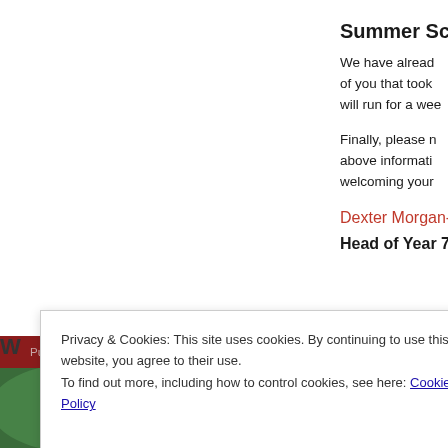Summer Scho
We have already of you that took will run for a wee
Finally, please n above informati welcoming your
Dexter Morgan-
Head of Year 7
Privacy & Cookies: This site uses cookies. By continuing to use this website, you agree to their use.
To find out more, including how to control cookies, see here: Cookie Policy
Close and accept
W
Publish Ofsted Reports
[Figure (photo): Group of people outdoors in green foliage setting]